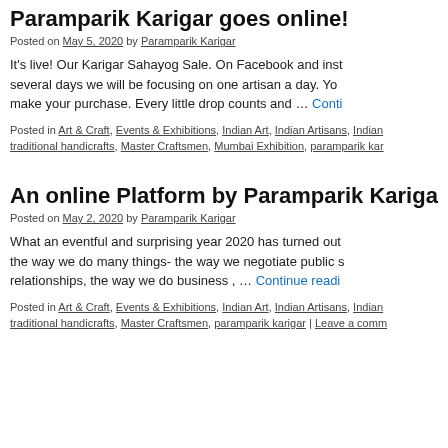Paramparik Karigar goes online!
Posted on May 5, 2020 by Paramparik Karigar
It's live! Our Karigar Sahayog Sale. On Facebook and inst... several days we will be focusing on one artisan a day. You make your purchase. Every little drop counts and … Continue reading
Posted in Art & Craft, Events & Exhibitions, Indian Art, Indian Artisans, Indian... traditional handicrafts, Master Craftsmen, Mumbai Exhibition, paramparik kar...
An online Platform by Paramparik Kariga...
Posted on May 2, 2020 by Paramparik Karigar
What an eventful and surprising year 2020 has turned out... the way we do many things- the way we negotiate public s... relationships, the way we do business , … Continue reading
Posted in Art & Craft, Events & Exhibitions, Indian Art, Indian Artisans, Indian... traditional handicrafts, Master Craftsmen, paramparik karigar | Leave a comm...